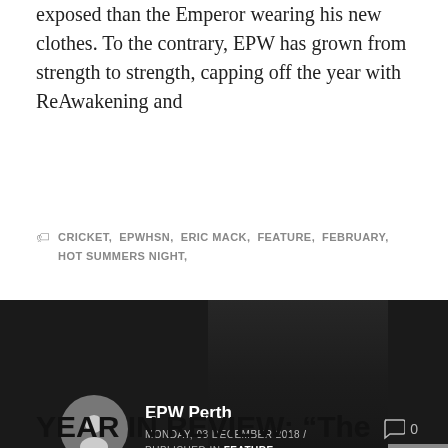exposed than the Emperor wearing his new clothes. To the contrary, EPW has grown from strength to strength, capping off the year with ReAwakening and
CRICKET, EPWHSN, ERIC MACK, FEATURE, FEBRUARY, HOT SUMMERS NIGHT,
[Figure (photo): Dark background card with a silhouette of a person. Shows author avatar (grey circle with person icon), author name 'EPW Perth', date 'MONDAY, 03 DECEMBER 2018 / PUBLISHED IN FEATURE', and comment count '0'.]
YEAR IN REVIEW: “The